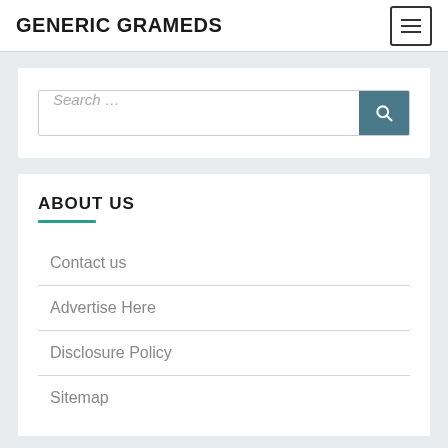GENERIC GRAMEDS
[Figure (screenshot): Search input box with placeholder text 'Search …' and a teal search button with magnifying glass icon]
ABOUT US
Contact us
Advertise Here
Disclosure Policy
Sitemap